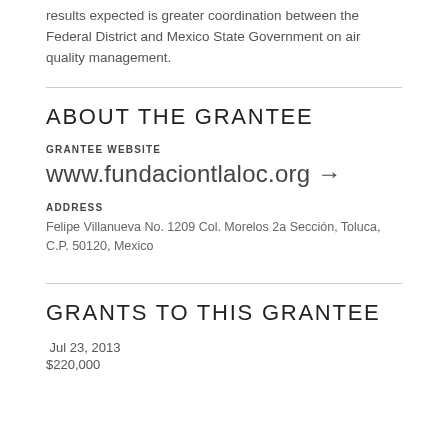results expected is greater coordination between the Federal District and Mexico State Government on air quality management.
ABOUT THE GRANTEE
GRANTEE WEBSITE
www.fundaciontlaloc.org →
ADDRESS
Felipe Villanueva No. 1209 Col. Morelos 2a Sección, Toluca, C.P. 50120, Mexico
GRANTS TO THIS GRANTEE
Jul 23, 2013
$220,000